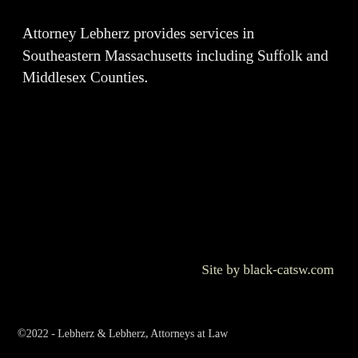Attorney Lebherz provides services in Southeastern Massachusetts including Suffolk and Middlesex Counties.
Site by black-catsw.com
©2022 - Lebherz & Lebherz, Attorneys at Law